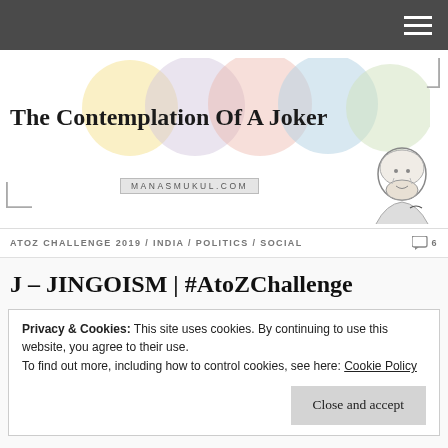[Figure (illustration): Blog header graphic with colorful overlapping circles and blog title 'The Contemplation Of A Joker', MANASMUKUL.COM label, decorative corner brackets, and a sketch portrait of a man with beard]
ATOZ CHALLENGE 2019 / INDIA / POLITICS / SOCIAL  6
J – JINGOISM | #AtoZChallenge
Privacy & Cookies: This site uses cookies. By continuing to use this website, you agree to their use.
To find out more, including how to control cookies, see here: Cookie Policy
Close and accept